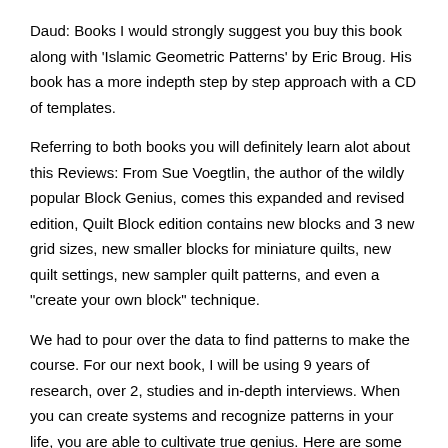Daud: Books I would strongly suggest you buy this book along with 'Islamic Geometric Patterns' by Eric Broug. His book has a more indepth step by step approach with a CD of templates.
Referring to both books you will definitely learn alot about this Reviews: From Sue Voegtlin, the author of the wildly popular Block Genius, comes this expanded and revised edition, Quilt Block edition contains new blocks and 3 new grid sizes, new smaller blocks for miniature quilts, new quilt settings, new sampler quilt patterns, and even a "create your own block" technique.
We had to pour over the data to find patterns to make the course. For our next book, I will be using 9 years of research, over 2, studies and in-depth interviews. When you can create systems and recognize patterns in your life, you are able to cultivate true genius. Here are some ways you can capture more Connessione: What's Your Book.
Piercing Pattern. A Piercing Pattern is a (2-candle) reversal candlestick pattern that forms after a decline in price. Unlike the Bullish Engulfing Pattern which closes above the previous open, the